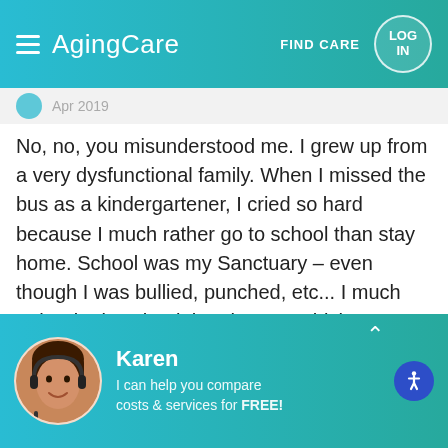AgingCare — FIND CARE — LOG IN
Apr 2019
No, no, you misunderstood me. I grew up from a very dysfunctional family. When I missed the bus as a kindergartener, I cried so hard because I much rather go to school than stay home. School was my Sanctuary – even though I was bullied, punched, etc... I much rather be in school than home - which was much worse in my young mind. Around age 8 or 9, I prayed to God on why he made me be born. Hence, from a very young age, I wanted death so much more than to be alive. All my young life, I was
Karen — I can help you compare costs & services for FREE!